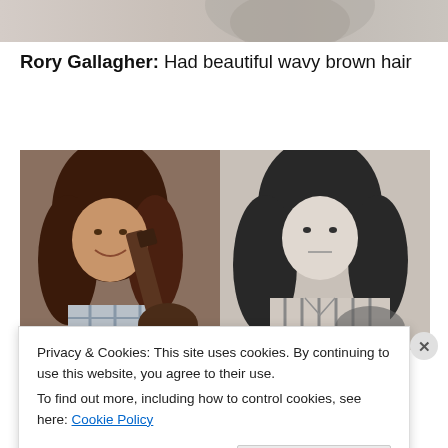[Figure (photo): Partial close-up black and white photo of a person, cropped at top of page]
Rory Gallagher: Had beautiful wavy brown hair
[Figure (photo): Two side-by-side photos of Rory Gallagher. Left: color photo, young man with long wavy brown hair holding a guitar, wearing a plaid shirt. Right: black and white photo, young man with long dark wavy hair holding a guitar, wearing a striped shirt.]
Privacy & Cookies: This site uses cookies. By continuing to use this website, you agree to their use.
To find out more, including how to control cookies, see here: Cookie Policy
Close and accept